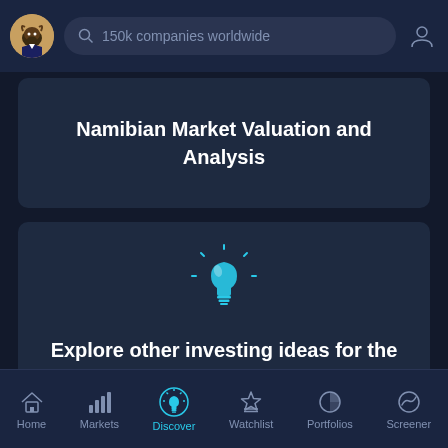150k companies worldwide
Namibian Market Valuation and Analysis
[Figure (illustration): Light bulb icon in cyan/teal color with glow rays, representing ideas]
Explore other investing ideas for the Namibian market
Home | Markets | Discover | Watchlist | Portfolios | Screener